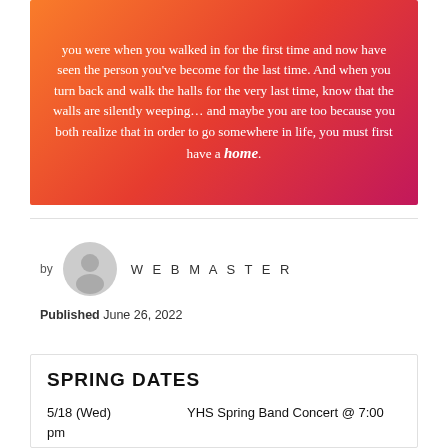[Figure (illustration): Orange-to-red-to-pink gradient background with white italic text quote ending in the word 'home' in bold italic]
you were when you walked in for the first time and now have seen the person you've become for the last time. And when you turn back and walk the halls for the very last time, know that the walls are silently weeping… and maybe you are too because you both realize that in order to go somewhere in life, you must first have a home.
by WEBMASTER
Published June 26, 2022
SPRING DATES
5/18 (Wed)    YHS Spring Band Concert @ 7:00 pm (Senior dinner at Little Sorrento @ 4:30)
5/21 (Sat)    Music Festival Trip 6:45am-11pm (Details below!)